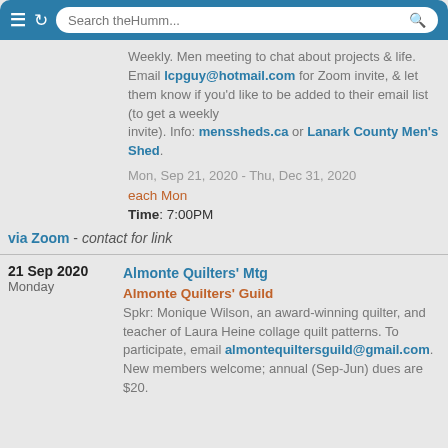Search theHumm...
Weekly. Men meeting to chat about projects & life. Email lcpguy@hotmail.com for Zoom invite, & let them know if you'd like to be added to their email list (to get a weekly invite). Info: menssheds.ca or Lanark County Men's Shed. Mon, Sep 21, 2020 - Thu, Dec 31, 2020 each Mon Time: 7:00PM
via Zoom - contact for link
21 Sep 2020 Monday Almonte Quilters' Mtg Almonte Quilters' Guild Spkr: Monique Wilson, an award-winning quilter, and teacher of Laura Heine collage quilt patterns. To participate, email almontequiltersguild@gmail.com. New members welcome; annual (Sep-Jun) dues are $20.